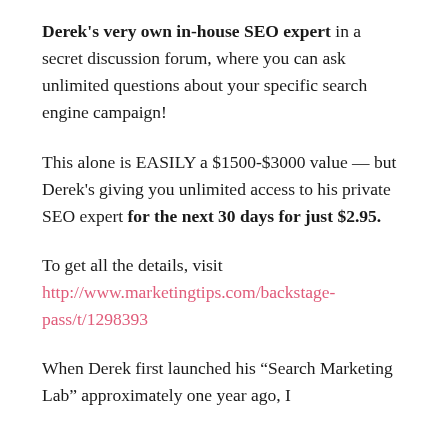Derek's very own in-house SEO expert in a secret discussion forum, where you can ask unlimited questions about your specific search engine campaign!
This alone is EASILY a $1500-$3000 value — but Derek's giving you unlimited access to his private SEO expert for the next 30 days for just $2.95.
To get all the details, visit http://www.marketingtips.com/backstage-pass/t/1298393
When Derek first launched his “Search Marketing Lab” approximately one year ago, I